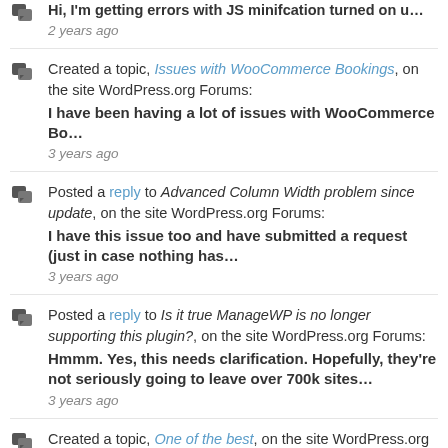Hi, I'm getting errors with JS minifcation turned on u... 2 years ago
Created a topic, Issues with WooCommerce Bookings, on the site WordPress.org Forums: I have been having a lot of issues with WooCommerce Bo... 3 years ago
Posted a reply to Advanced Column Width problem since update, on the site WordPress.org Forums: I have this issue too and have submitted a request (just in case nothing has... 3 years ago
Posted a reply to Is it true ManageWP is no longer supporting this plugin?, on the site WordPress.org Forums: Hmmm. Yes, this needs clarification. Hopefully, they're not seriously going to leave over 700k sites... 3 years ago
Created a topic, One of the best, on the site WordPress.org Forums: This is a great plugin with plenty of functionality al...